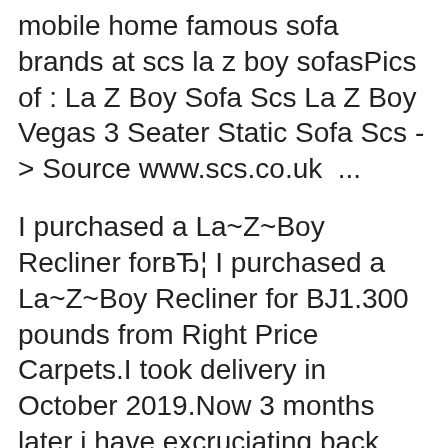mobile home famous sofa brands at scs la z boy sofasPics of : La Z Boy Sofa Scs La Z Boy Vegas 3 Seater Static Sofa Scs -> Source www.scs.co.uk  ...
I purchased a La~Z~Boy Recliner forвЂ¦ I purchased a La~Z~Boy Recliner for BJ1.300 pounds from Right Price Carpets.I took delivery in October 2019.Now 3 months later i have excruciating back pain.L am looking into if and how i can get my money back.Iwas advised this was the best to buy but NEVER AGAIN. A Tamla 4 seater corner suite with end 12/09/2018B B· Corner units la z boy uk corner units la z boy uk la z boy sofas range fabric leather recliners scs corner units la z